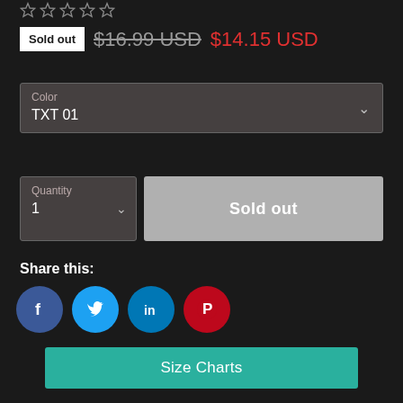[Figure (other): Five empty star rating icons in a row]
Sold out  $16.99 USD  $14.15 USD
Color
TXT 01
Quantity
1
Sold out
Share this:
[Figure (other): Social sharing icons: Facebook, Twitter, LinkedIn, Pinterest]
Size Charts
It's not just about the cool design that caught your eye (and the fact you'll never find it in a department store). Our Kpop Lomo Cards are made with love, All Kpop T-shirts, Hoodies, and Accessories we made are super-soft and ultra-comfortable. If you want good and